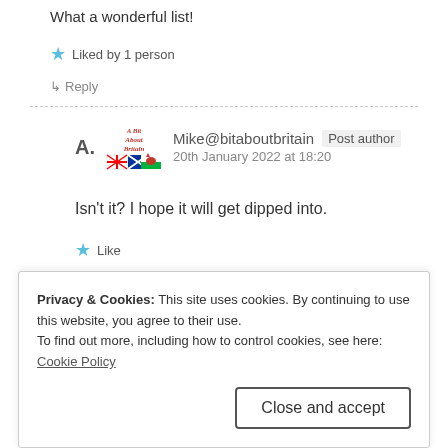What a wonderful list!
Liked by 1 person
↳ Reply
Mike@bitaboutbritain  Post author
20th January 2022 at 18:20
Isn't it? I hope it will get dipped into.
Like
↳ Reply
Privacy & Cookies: This site uses cookies. By continuing to use this website, you agree to their use.
To find out more, including how to control cookies, see here: Cookie Policy
Close and accept
A whole lot of history.